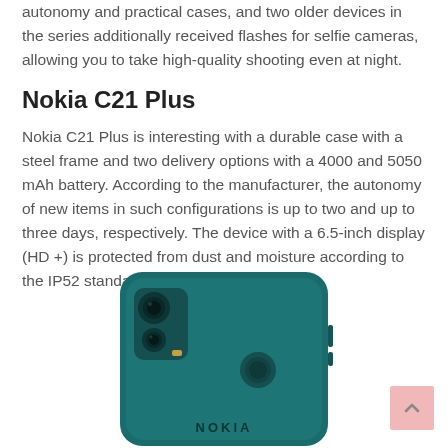autonomy and practical cases, and two older devices in the series additionally received flashes for selfie cameras, allowing you to take high-quality shooting even at night.
Nokia C21 Plus
Nokia C21 Plus is interesting with a durable case with a steel frame and two delivery options with a 4000 and 5050 mAh battery. According to the manufacturer, the autonomy of new items in such configurations is up to two and up to three days, respectively. The device with a 6.5-inch display (HD +) is protected from dust and moisture according to the IP52 standard.
[Figure (photo): Back view of Nokia C21 Plus smartphone in teal/dark cyan color, showing dual camera module in top-left corner, fingerprint sensor in center, and Nokia branding at bottom.]